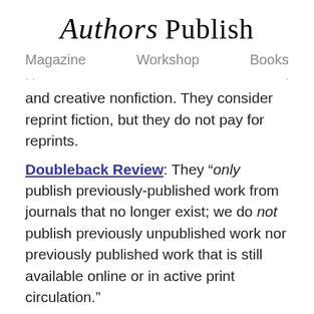Authors Publish
Magazine   Workshop   Books
and creative nonfiction. They consider reprint fiction, but they do not pay for reprints.
Doubleback Review: They “only publish previously-published work from journals that no longer exist; we do not publish previously unpublished work nor previously published work that is still available online or in active print circulation.”